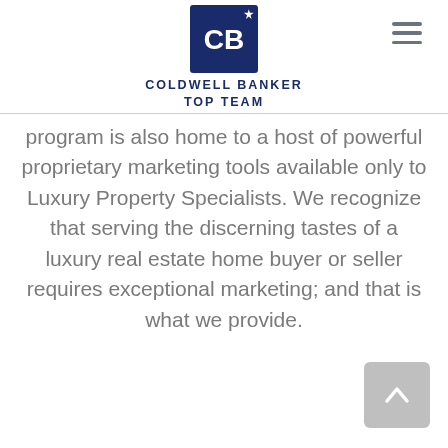[Figure (logo): Coldwell Banker Top Team logo — navy blue square with CB monogram and star, with text COLDWELL BANKER TOP TEAM below]
program is also home to a host of powerful proprietary marketing tools available only to Luxury Property Specialists. We recognize that serving the discerning tastes of a luxury real estate home buyer or seller requires exceptional marketing; and that is what we provide.
[Figure (other): Gray rounded square scroll-to-top button with upward chevron arrow]